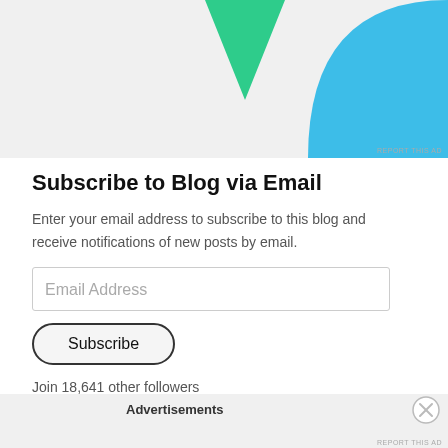[Figure (illustration): Advertisement banner with green triangle and blue arc shapes on light grey background]
Subscribe to Blog via Email
Enter your email address to subscribe to this blog and receive notifications of new posts by email.
Join 18,641 other followers
[Figure (illustration): Advertisement banner area with close button, labelled Advertisements]